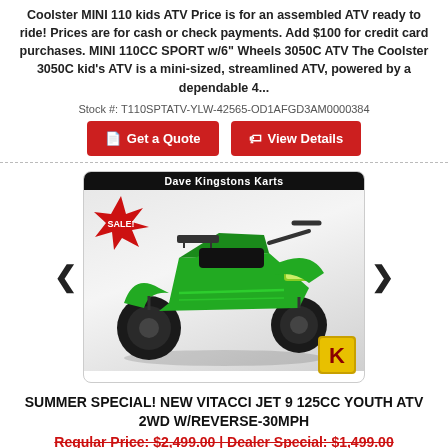Coolster MINI 110 kids ATV Price is for an assembled ATV ready to ride! Prices are for cash or check payments. Add $100 for credit card purchases. MINI 110CC SPORT w/6" Wheels 3050C ATV The Coolster 3050C kid's ATV is a mini-sized, streamlined ATV, powered by a dependable 4...
Stock #: T110SPTATV-YLW-42565-OD1AFGD3AM0000384
Get a Quote | View Details
[Figure (photo): Green and black youth ATV (quad bike) with 'SALE!' badge and 'Dave Kingstons Karts' dealer header, with a golden 'K' logo in the bottom right.]
SUMMER SPECIAL! NEW VITACCI JET 9 125CC YOUTH ATV 2WD W/REVERSE-30MPH
Regular Price: $2,499.00 | Dealer Special: $1,499.00